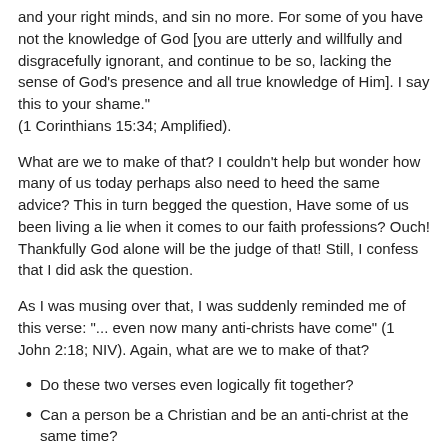and your right minds, and sin no more. For some of you have not the knowledge of God [you are utterly and willfully and disgracefully ignorant, and continue to be so, lacking the sense of God's presence and all true knowledge of Him]. I say this to your shame." (1 Corinthians 15:34; Amplified).
What are we to make of that? I couldn't help but wonder how many of us today perhaps also need to heed the same advice? This in turn begged the question, Have some of us been living a lie when it comes to our faith professions? Ouch! Thankfully God alone will be the judge of that! Still, I confess that I did ask the question.
As I was musing over that, I was suddenly reminded me of this verse: "... even now many anti-christs have come" (1 John 2:18; NIV). Again, what are we to make of that?
Do these two verses even logically fit together?
Can a person be a Christian and be an anti-christ at the same time?